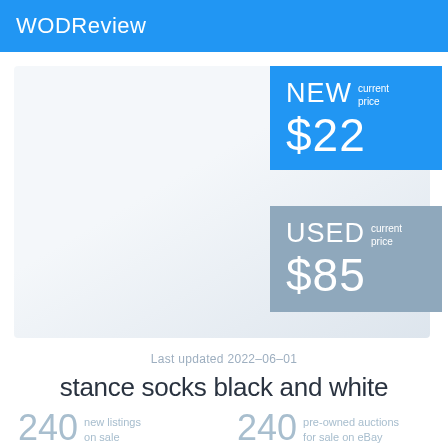WODReview
[Figure (infographic): Product price card showing NEW current price $22 (blue background) and USED current price $85 (gray-blue background), alongside a light gray product image placeholder area.]
Last updated 2022-06-01
stance socks black and white
240 new listings on sale
240 pre-owned auctions for sale on eBay